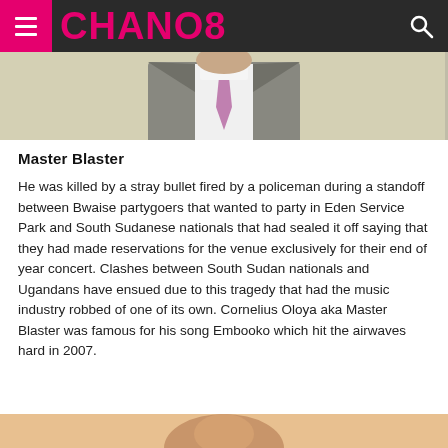CHANO8
[Figure (photo): Partial photo of a man in a suit and tie, cropped at the top of the page]
Master Blaster
He was killed by a stray bullet fired by a policeman during a standoff between Bwaise partygoers that wanted to party in Eden Service Park and South Sudanese nationals that had sealed it off saying that they had made reservations for the venue exclusively for their end of year concert. Clashes between South Sudan nationals and Ugandans have ensued due to this tragedy that had the music industry robbed of one of its own. Cornelius Oloya aka Master Blaster was famous for his song Embooko which hit the airwaves hard in 2007.
[Figure (photo): Partial photo of another person, cropped at the bottom of the page]